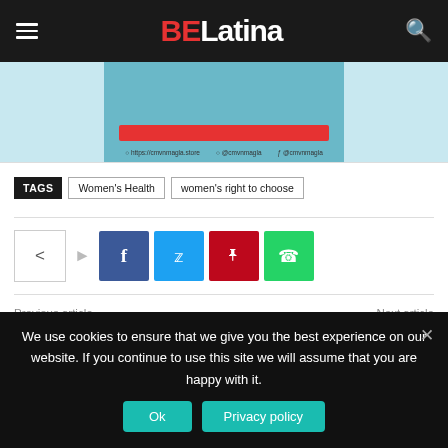BELatina
[Figure (screenshot): Partial banner/promotional image with a red bar and social media icons on a light blue background]
TAGS  Women's Health  women's right to choose
[Figure (infographic): Social share bar with share icon, Facebook, Twitter, Pinterest, and WhatsApp buttons]
Previous article    Next article
We use cookies to ensure that we give you the best experience on our website. If you continue to use this site we will assume that you are happy with it.
Ok    Privacy policy